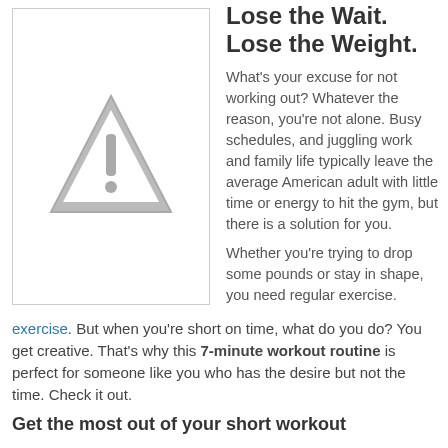[Figure (illustration): Gray warning triangle with exclamation mark inside a white bordered box]
Lose the Wait. Lose the Weight.
What's your excuse for not working out? Whatever the reason, you're not alone. Busy schedules, and juggling work and family life typically leave the average American adult with little time or energy to hit the gym, but there is a solution for you.
Whether you're trying to drop some pounds or stay in shape, you need regular exercise. But when you're short on time, what do you do? You get creative. That's why this 7-minute workout routine is perfect for someone like you who has the desire but not the time. Check it out.
Get the most out of your short workout